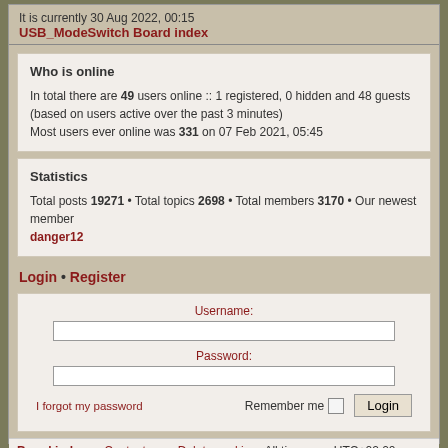It is currently 30 Aug 2022, 00:15
USB_ModeSwitch Board index
Who is online
In total there are 49 users online :: 1 registered, 0 hidden and 48 guests (based on users active over the past 3 minutes)
Most users ever online was 331 on 07 Feb 2021, 05:45
Statistics
Total posts 19271 • Total topics 2698 • Total members 3170 • Our newest member danger12
Login • Register
Username:
Password:
I forgot my password
Remember me
Login
Board index   Contact us   Delete cookies   All times are UTC+02:00
Nosebleed style by Mike Lothar | Ported to phpBB3.2 by Ian Bradley
Powered by phpBB® Forum Software © phpBB Limited
Privacy | Terms